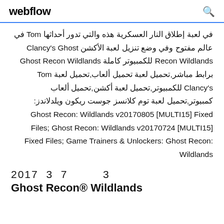webflow
في لعبة إطلاق النار العسكرية هذه والتي تدور أحداثها Tom في عالم مفتوح وفي وضع تنزيل لعبة الأكشن Clancy's Ghost Recon Wildlands للكمبيوتر كاملة Ghost Recon Wildlands برابط مباشر,تحميل لعبة تحميل ألعاب,تحميل لعبة Tom Clancy's للكمبيوتر,تحميل لعبة أكشن,تحميل ألعاب كمبيوتر,تحميل لعبة توم كلانسز جوست ريكون ويلدلاندز: Ghost Recon: Wildlands v20170805 [MULTI15] Fixed Files; Ghost Recon: Wildlands v20170724 [MULTI15] Fixed Files; Game Trainers & Unlockers: Ghost Recon: Wildlands
2017  3  7         3
Ghost Recon® Wildlands